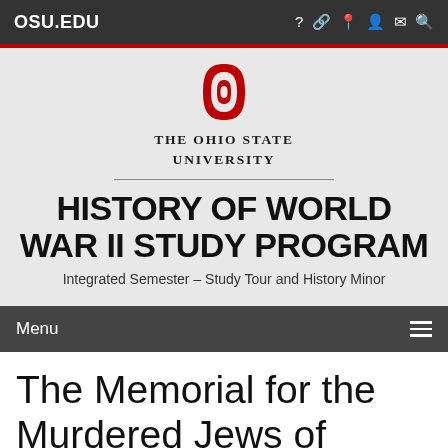OSU.EDU
[Figure (logo): The Ohio State University Block O logo in red and white]
THE OHIO STATE UNIVERSITY
HISTORY OF WORLD WAR II STUDY PROGRAM
Integrated Semester – Study Tour and History Minor
Menu
The Memorial for the Murdered Jews of Europe